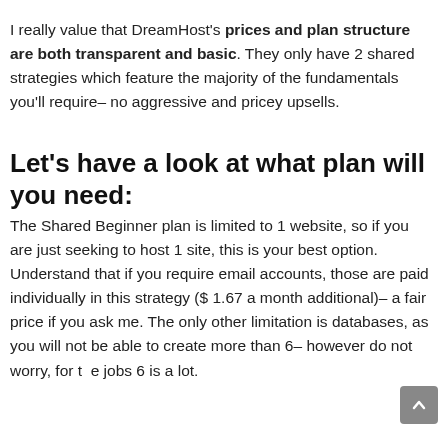I really value that DreamHost's prices and plan structure are both transparent and basic. They only have 2 shared strategies which feature the majority of the fundamentals you'll require– no aggressive and pricey upsells.
Let's have a look at what plan will you need:
The Shared Beginner plan is limited to 1 website, so if you are just seeking to host 1 site, this is your best option. Understand that if you require email accounts, those are paid individually in this strategy ($ 1.67 a month additional)– a fair price if you ask me. The only other limitation is databases, as you will not be able to create more than 6– however do not worry, for the jobs 6 is a lot.